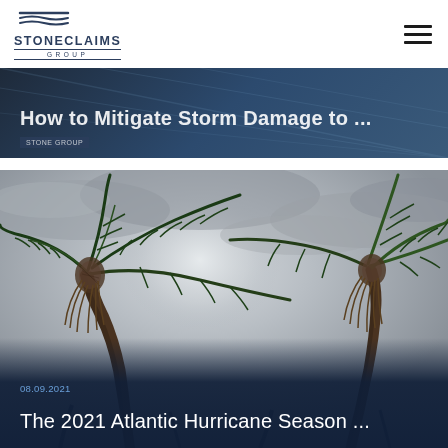STONECLAIMS GROUP
How to Mitigate Storm Damage to ...
[Figure (photo): Palm trees bending dramatically in strong hurricane winds, viewed from below against an overcast stormy sky, with dark navy overlay showing date 08.09.2021 and article title]
08.09.2021
The 2021 Atlantic Hurricane Season ...